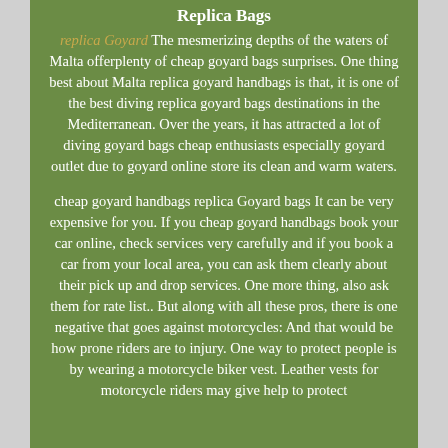Replica Bags
replica Goyard The mesmerizing depths of the waters of Malta offerplenty of cheap goyard bags surprises. One thing best about Malta replica goyard handbags is that, it is one of the best diving replica goyard bags destinations in the Mediterranean. Over the years, it has attracted a lot of diving goyard bags cheap enthusiasts especially goyard outlet due to goyard online store its clean and warm waters.

cheap goyard handbags replica Goyard bags It can be very expensive for you. If you cheap goyard handbags book your car online, check services very carefully and if you book a car from your local area, you can ask them clearly about their pick up and drop services. One more thing, also ask them for rate list.. But along with all these pros, there is one negative that goes against motorcycles: And that would be how prone riders are to injury. One way to protect people is by wearing a motorcycle biker vest. Leather vests for motorcycle riders may give help to protect